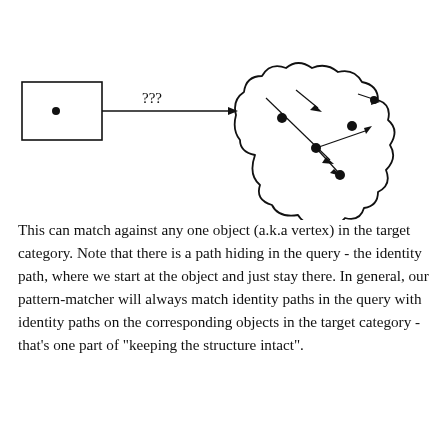[Figure (schematic): A single-object query diagram: a small rectangle with a dot inside on the left, connected by an arrow labeled '???' pointing right into a cloud shape containing multiple dots and crossing arrows representing a target category with multiple objects and morphisms.]
This can match against any one object (a.k.a vertex) in the target category. Note that there is a path hiding in the query - the identity path, where we start at the object and just stay there. In general, our pattern-matcher will always match identity paths in the query with identity paths on the corresponding objects in the target category - that's one part of "keeping the structure intact".